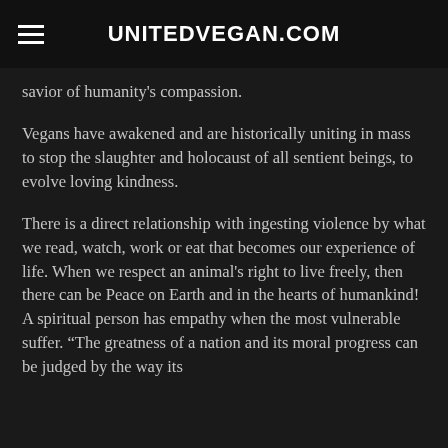UNITEDVEGAN.COM
savior of humanity's compassion.
Vegans have awakened and are historically uniting in mass to stop the slaughter and holocaust of all sentient beings, to evolve loving kindness.
There is a direct relationship with ingesting violence by what we read, watch, work or eat that becomes our experience of life. When we respect an animal's right to live freely, then there can be Peace on Earth and in the hearts of humankind! A spiritual person has empathy when the most vulnerable suffer. “The greatness of a nation and its moral progress can be judged by the way its